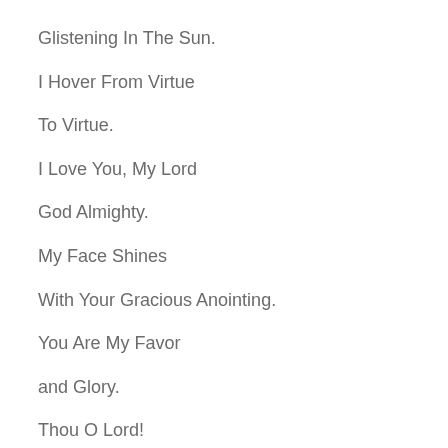Glistening In The Sun.
I Hover From Virtue
To Virtue.
I Love You, My Lord
God Almighty.
My Face Shines
With Your Gracious Anointing.
You Are My Favor
and Glory.
Thou O Lord!